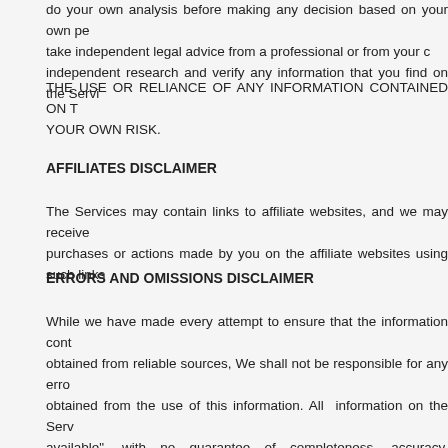do your own analysis before making any decision based on your own pe take independent legal advice from a professional or from your c independent research and verify any information that you find on the Servi
THE USE OR RELIANCE OF ANY INFORMATION CONTAINED ON T YOUR OWN RISK.
AFFILIATES DISCLAIMER
The Services may contain links to affiliate websites, and we may receive purchases or actions made by you on the affiliate websites using such links
ERRORS AND OMISSIONS DISCLAIMER
While we have made every attempt to ensure that the information cont obtained from reliable sources, We shall not be responsible for any erro obtained from the use of this information. All information on the Serv available", with no guarantee of completeness, accuracy, timeliness or of of this information, and without warranty of any kind, express, implied or s to warranties of title, non-infringement of third party rights, performance, m fitness for a particular purpose and freedom from virus or other malicious agent, program or macros.